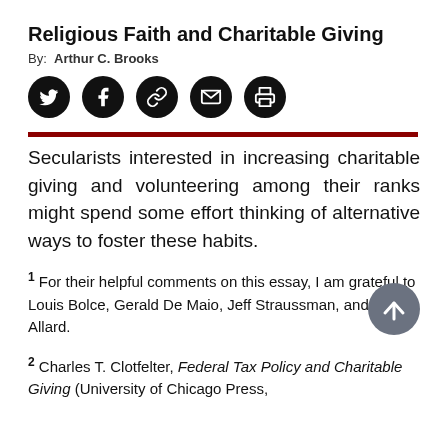Religious Faith and Charitable Giving
By: Arthur C. Brooks
[Figure (other): Row of five social sharing icon buttons (Twitter, Facebook, link/chain, email, print) as black circles with white icons]
Secularists interested in increasing charitable giving and volunteering among their ranks might spend some effort thinking of alternative ways to foster these habits.
1 For their helpful comments on this essay, I am grateful to Louis Bolce, Gerald De Maio, Jeff Straussman, and Scott Allard.
2 Charles T. Clotfelter, Federal Tax Policy and Charitable Giving (University of Chicago Press,